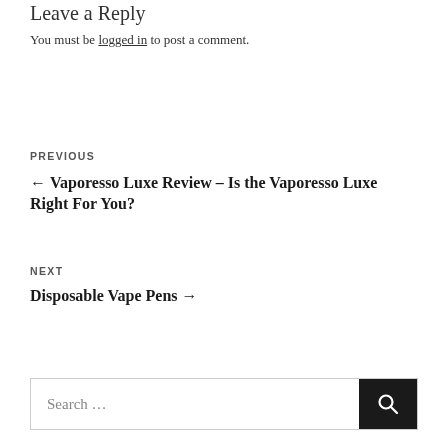Leave a Reply
You must be logged in to post a comment.
PREVIOUS
← Vaporesso Luxe Review – Is the Vaporesso Luxe Right For You?
NEXT
Disposable Vape Pens →